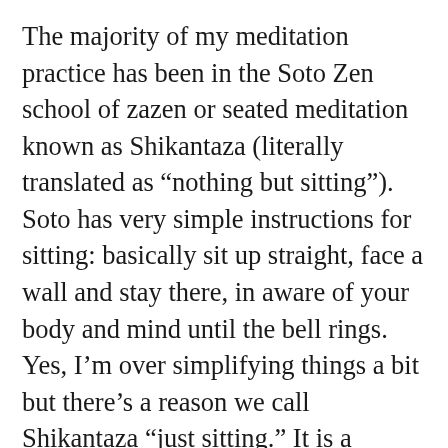The majority of my meditation practice has been in the Soto Zen school of zazen or seated meditation known as Shikantaza (literally translated as “nothing but sitting”). Soto has very simple instructions for sitting: basically sit up straight, face a wall and stay there, in aware of your body and mind until the bell rings. Yes, I’m over simplifying things a bit but there’s a reason we call Shikantaza “just sitting.” It is a deceptively simple practice of present moment awareness. There are no mantras to chant or visualizations to practice or even koans